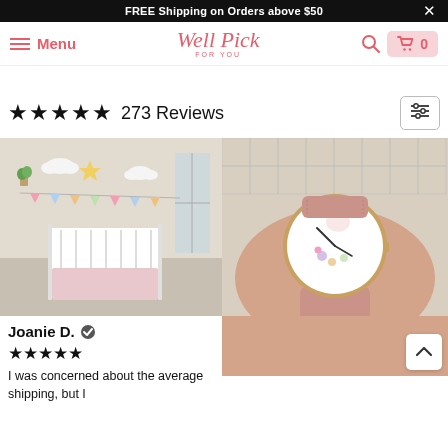FREE Shipping on Orders above $50  ×
Menu  Well Pick FOR YOU  🔍  🛒 0
★★★★★  273 Reviews
[Figure (photo): Photo of a child's bedroom with unicorn and cloud decorations on wall, white crib, pink bedding]
[Figure (photo): Close-up photo of a unicorn-themed watch with rose gold case and pink leather strap on a person's wrist]
Joanie D. ✔
★★★★★
I was concerned about the average shipping, but I